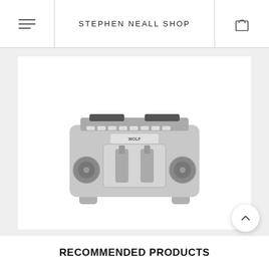STEPHEN NEALL SHOP
[Figure (photo): A stainless steel Wolf Gourmet 4-slice toaster with two control knobs and slot levers on top, viewed from the front.]
RECOMMENDED PRODUCTS